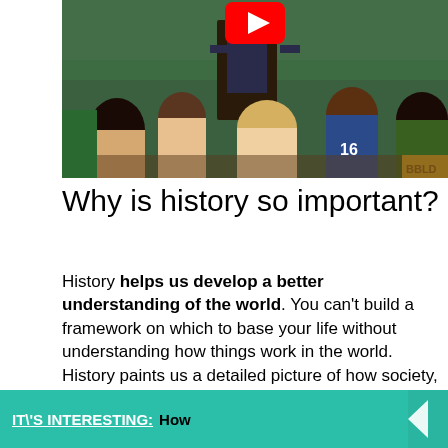[Figure (photo): Classroom scene viewed from behind students, showing a teacher at the front near a green chalkboard. A YouTube play button overlay is visible at the top center.]
Why is history so important?
History helps us develop a better understanding of the world. You can't build a framework on which to base your life without understanding how things work in the world. History paints us a detailed picture of how society, technology, and government worked way back when so that we can better understand how it works now.
IT\'S INTERESTING:  How